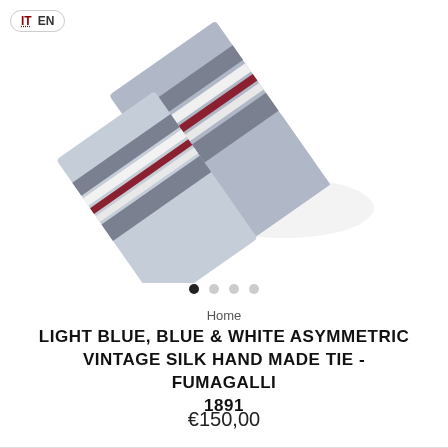[Figure (photo): A folded striped silk tie in light blue, blue, white and dark red/maroon stripes, displayed on a white background. The tie is folded so two sections overlap.]
Home
LIGHT BLUE, BLUE & WHITE ASYMMETRIC VINTAGE SILK HAND MADE TIE - FUMAGALLI 1891
€150,00